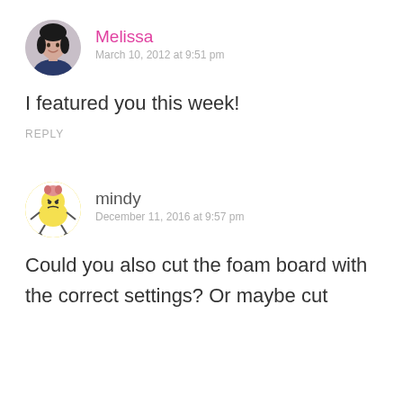[Figure (photo): Circular avatar photo of Melissa, a woman with dark hair]
Melissa
March 10, 2012 at 9:51 pm
I featured you this week!
REPLY
[Figure (illustration): Cartoon avatar of mindy - a yellow round character with a pink brain on top, arms and legs]
mindy
December 11, 2016 at 9:57 pm
Could you also cut the foam board with the correct settings? Or maybe cut